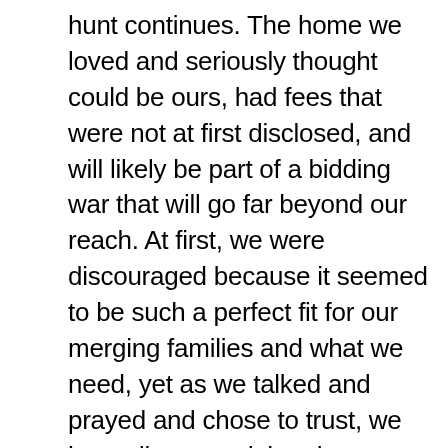hunt continues. The home we loved and seriously thought could be ours, had fees that were not at first disclosed, and will likely be part of a bidding war that will go far beyond our reach. At first, we were discouraged because it seemed to be such a perfect fit for our merging families and what we need, yet as we talked and prayed and chose to trust, we have discovered that there are more out there that will meet the hopes that we hold, for far less money than the first home. In fact, we found a house yesterday that is literally a few blocks from the home that my boys and I live in currently. It has the space that we need, rooms, restrooms, parking, and even a potential place to build a shop for my fabulous